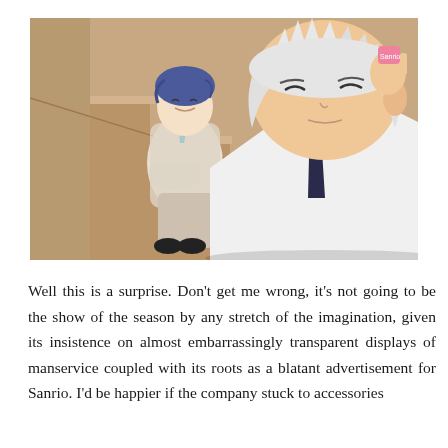[Figure (illustration): Anime screenshot showing two male characters on stairs. In the background, a character with dark blue hair sits on the stairs wearing a light cardigan, smiling. In the foreground, a character with spiky white/silver hair wearing a white shirt and dark tie, with eyes closed, holds his hand near his ear. A small pink accessory is visible near his ear.]
Well this is a surprise. Don't get me wrong, it's not going to be the show of the season by any stretch of the imagination, given its insistence on almost embarrassingly transparent displays of manservice coupled with its roots as a blatant advertisement for Sanrio. I'd be happier if the company stuck to accessories